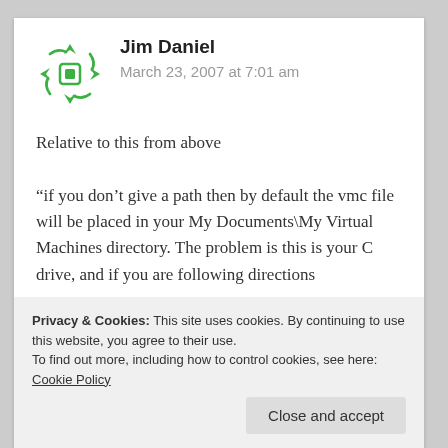[Figure (logo): Green circular avatar icon with diamond/cross pattern made of green arrow-like shapes pointing inward]
Jim Daniel
March 23, 2007 at 7:01 am
Relative to this from above
“if you don’t give a path then by default the vmc file will be placed in your My Documents\My Virtual Machines directory. The problem is this is your C drive, and if you are following directions
suggest you do something similar. That way you
Privacy & Cookies: This site uses cookies. By continuing to use this website, you agree to their use.
To find out more, including how to control cookies, see here: Cookie Policy
Close and accept